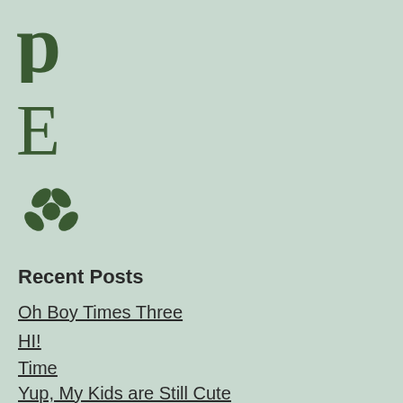[Figure (logo): Pinterest icon (stylized 'p') in dark green]
[Figure (logo): Etsy icon (stylized 'E') in dark green]
[Figure (logo): Yelp icon (stylized flower/asterisk) in dark green]
Recent Posts
Oh Boy Times Three
HI!
Time
Yup, My Kids are Still Cute
A Corner of My Own